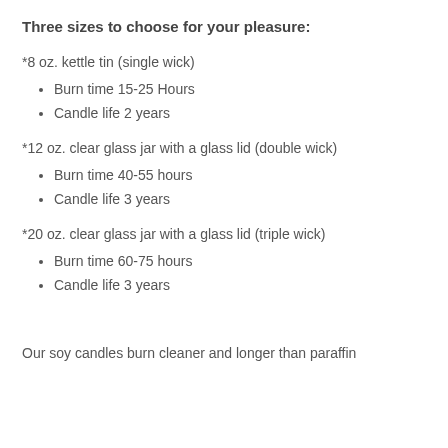Three sizes to choose for your pleasure:
*8 oz. kettle tin (single wick)
Burn time 15-25 Hours
Candle life 2 years
*12 oz. clear glass jar with a glass lid (double wick)
Burn time 40-55 hours
Candle life 3 years
*20 oz. clear glass jar with a glass lid (triple wick)
Burn time 60-75 hours
Candle life 3 years
Our soy candles burn cleaner and longer than paraffin